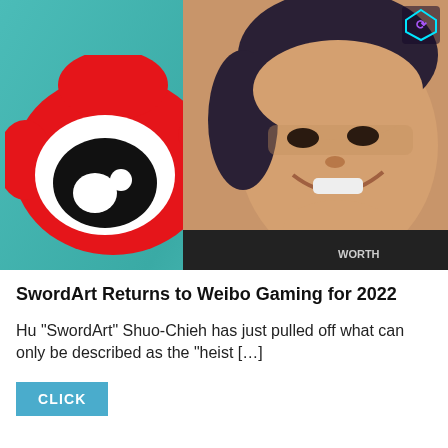[Figure (photo): Composite image showing Weibo (Sina Weibo) red logo on the left and a smiling Asian male esports player (SwordArt) on the right, with orange splatter design elements and teal background, plus a small colored esports site logo in the top right corner.]
SwordArt Returns to Weibo Gaming for 2022
Hu “SwordArt” Shuo-Chieh has just pulled off what can only be described as the “heist […]
CLICK